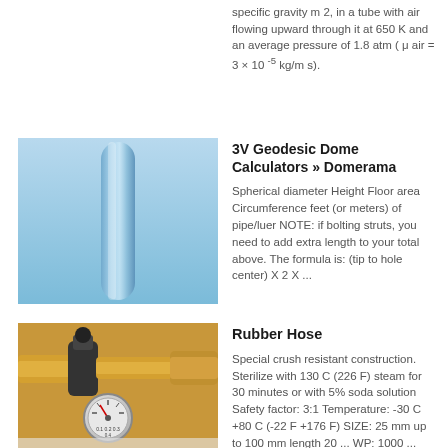specific gravity m 2, in a tube with air flowing upward through it at 650 K and an average pressure of 1.8 atm ( μ air = 3 × 10 -5 kg/m s).
[Figure (photo): Blue transparent pipe/tube against a light blue background]
3V Geodesic Dome Calculators » Domerama
Spherical diameter Height Floor area Circumference feet (or meters) of pipe/luer NOTE: if bolting struts, you need to add extra length to your total above. The formula is: (tip to hole center) X 2 X ...
[Figure (photo): Brass pipe fittings and a pressure gauge/regulator]
Rubber Hose
Special crush resistant construction. Sterilize with 130 C (226 F) steam for 30 minutes or with 5% soda solution Safety factor: 3:1 Temperature: -30 C +80 C (-22 F +176 F) SIZE: 25 mm up to 100 mm length 20 ... WP: 1000 ...